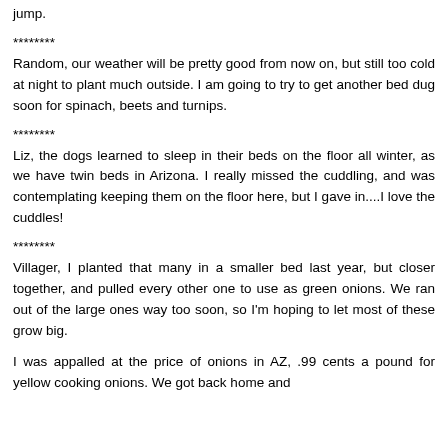Maureen, Annie's getting so fat, I thought I was going to have to make her a ramp! I finally decided she needed the exercise....she can just jump.
********
Random, our weather will be pretty good from now on, but still too cold at night to plant much outside. I am going to try to get another bed dug soon for spinach, beets and turnips.
********
Liz, the dogs learned to sleep in their beds on the floor all winter, as we have twin beds in Arizona. I really missed the cuddling, and was contemplating keeping them on the floor here, but I gave in....I love the cuddles!
********
Villager, I planted that many in a smaller bed last year, but closer together, and pulled every other one to use as green onions. We ran out of the large ones way too soon, so I'm hoping to let most of these grow big.
I was appalled at the price of onions in AZ, .99 cents a pound for yellow cooking onions. We got back home and